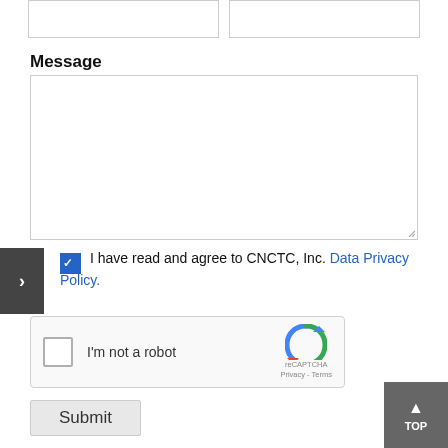[Figure (screenshot): Two empty input text boxes side by side at top of form]
Message
[Figure (screenshot): Large empty textarea for message input with resize handle]
I have read and agree to CNCTC, Inc. Data Privacy Policy.
[Figure (screenshot): reCAPTCHA widget with checkbox 'I'm not a robot' and reCAPTCHA logo with Privacy - Terms links]
[Figure (screenshot): Submit button]
[Figure (screenshot): TOP navigation button in bottom right corner]